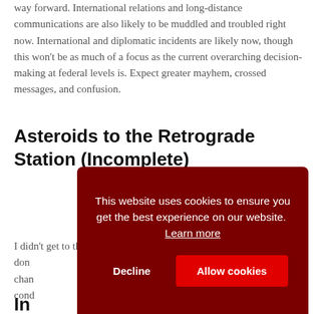way forward. International relations and long-distance communications are also likely to be muddled and troubled right now. International and diplomatic incidents are likely now, though this won't be as much of a focus as the current overarching decision-making at federal levels is. Expect greater mayhem, crossed messages, and confusion.
Asteroids to the Retrograde Station (Incomplete)
I didn't get to the asteroids for the last Mercury Retrograde, and I don... chan... cond...
In
This website uses cookies to ensure you get the best experience on our website. Learn more
Decline
Allow cookies